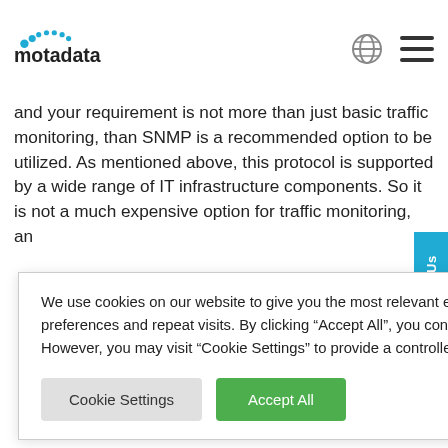motadata
and your requirement is not more than just basic traffic monitoring, than SNMP is a recommended option to be utilized. As mentioned above, this protocol is supported by a wide range of IT infrastructure components. So it is not a much expensive option for traffic monitoring, an[d] ...ators with tigh[t] ...s usually a ...vices that do
We use cookies on our website to give you the most relevant experience by remembering your preferences and repeat visits. By clicking “Accept All”, you consent to the use of ALL the cookies. However, you may visit “Cookie Settings” to provide a controlled consent.
ns. It is the ...or to set the ...ad in / read out